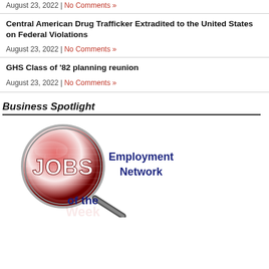August 23, 2022 | No Comments »
Central American Drug Trafficker Extradited to the United States on Federal Violations
August 23, 2022 | No Comments »
GHS Class of '82 planning reunion
August 23, 2022 | No Comments »
Business Spotlight
[Figure (logo): JOBS Employment Network of the Week logo — red magnifying glass with 'JOBS' text inside, 'Employment Network' in blue bold text, 'of the Week' below in red and blue bold text]